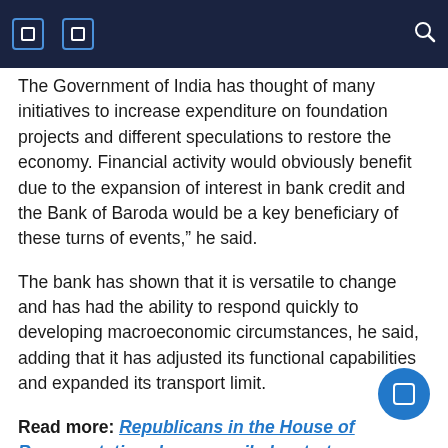[navigation icons] [search icon]
The Government of India has thought of many initiatives to increase expenditure on foundation projects and different speculations to restore the economy. Financial activity would obviously benefit due to the expansion of interest in bank credit and the Bank of Baroda would be a key beneficiary of these turns of events,” he said.
The bank has shown that it is versatile to change and has had the ability to respond quickly to developing macroeconomic circumstances, he said, adding that it has adjusted its functional capabilities and expanded its transport limit.
Read more: Republicans in the House of Representatives have unveiled a strategy
Bounce has adopted a “phygital” model by offering the